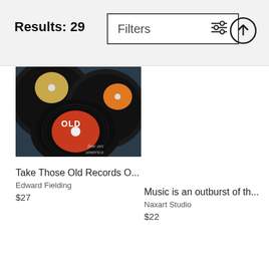Results: 29
Filters
[Figure (photo): Vinyl records close-up with red and orange record labels, including one labeled 'Old' with watermark 'fine art america']
Take Those Old Records O...
Edward Fielding
$27
Music is an outburst of th...
Naxart Studio
$22